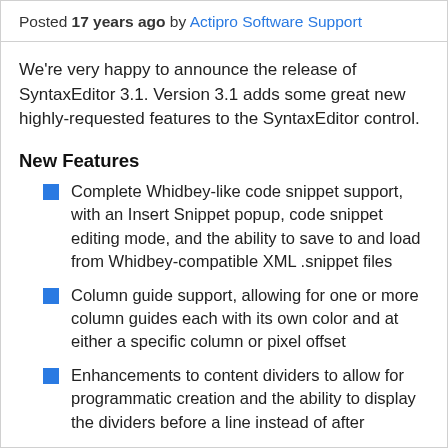Posted 17 years ago by Actipro Software Support
We're very happy to announce the release of SyntaxEditor 3.1. Version 3.1 adds some great new highly-requested features to the SyntaxEditor control.
New Features
Complete Whidbey-like code snippet support, with an Insert Snippet popup, code snippet editing mode, and the ability to save to and load from Whidbey-compatible XML .snippet files
Column guide support, allowing for one or more column guides each with its own color and at either a specific column or pixel offset
Enhancements to content dividers to allow for programmatic creation and the ability to display the dividers before a line instead of after